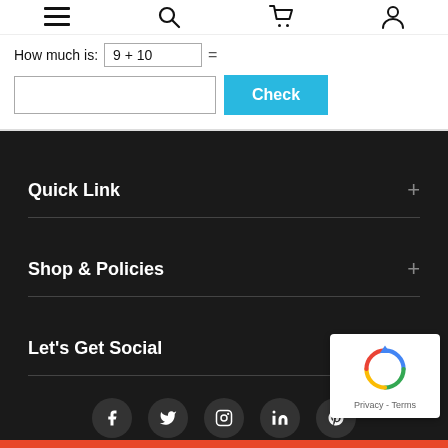Navigation bar with menu, search, cart, and account icons
How much is: 9 + 10 =
Check
Quick Link +
Shop & Policies +
Let's Get Social +
[Figure (other): Social media icons: Facebook, Twitter, Instagram, LinkedIn, Pinterest in dark circular buttons]
[Figure (other): reCAPTCHA badge with spinning arrows logo and Privacy - Terms text]
Red bottom bar